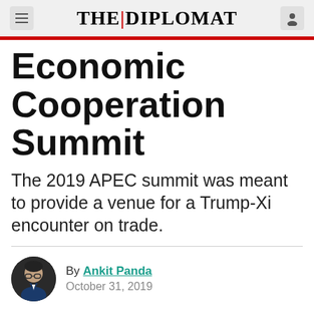THE DIPLOMAT
Economic Cooperation Summit
The 2019 APEC summit was meant to provide a venue for a Trump-Xi encounter on trade.
By Ankit Panda
October 31, 2019